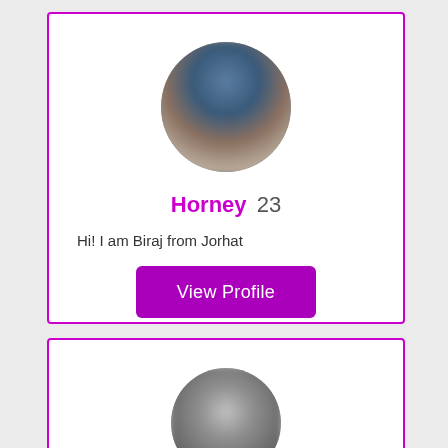[Figure (photo): Circular blurred profile photo of a person, used as avatar in first profile card]
Horney 23
Hi! I am Biraj from Jorhat
View Profile
[Figure (photo): Circular blurred profile photo of a person, used as avatar in second profile card (partially visible)]